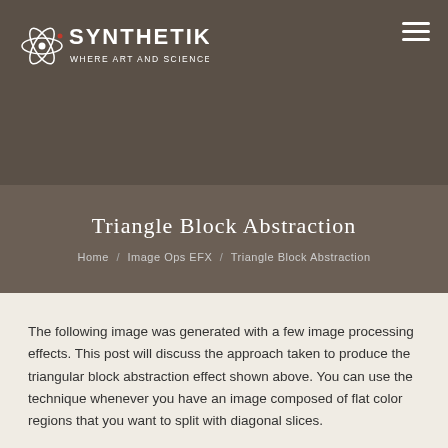[Figure (logo): Synthetik logo: atom/orbit icon in white with red dot, text 'SYNTHETIK' in white stylized letters, tagline 'WHERE ART AND SCIENCE COLLIDE' in white below]
Triangle Block Abstraction
Home / Image Ops EFX / Triangle Block Abstraction
The following image was generated with a few image processing effects. This post will discuss the approach taken to produce the triangular block abstraction effect shown above. You can use the technique whenever you have an image composed of flat color regions that you want to split with diagonal slices.